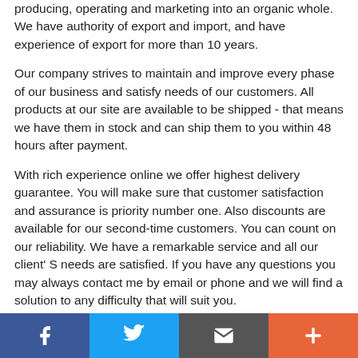producing, operating and marketing into an organic whole. We have authority of export and import, and have experience of export for more than 10 years.
Our company strives to maintain and improve every phase of our business and satisfy needs of our customers. All products at our site are available to be shipped - that means we have them in stock and can ship them to you within 48 hours after payment.
With rich experience online we offer highest delivery guarantee. You will make sure that customer satisfaction and assurance is priority number one. Also discounts are available for our second-time customers. You can count on our reliability. We have a remarkable service and all our client' S needs are satisfied. If you have any questions you may always contact me by email or phone and we will find a solution to any difficulty that will suit you.
High quality, best price, first-class service, high successful